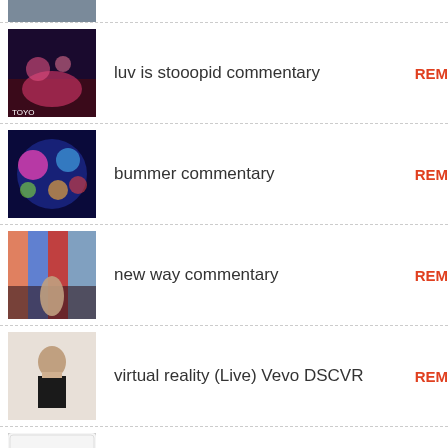luv is stooopid commentary
bummer commentary
new way commentary
virtual reality (Live) Vevo DSCVR
Butterfly -for you-
afterthoughts